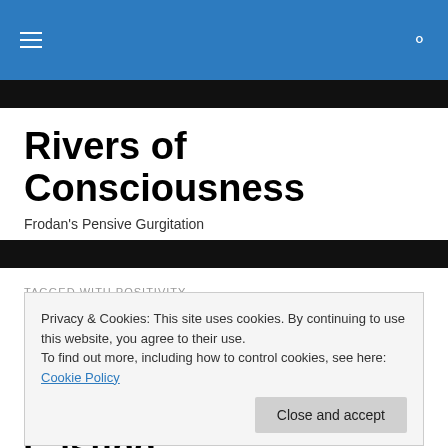Rivers of Consciousness — navigation bar
Rivers of Consciousness
Frodan's Pensive Gurgitation
TAGGED WITH POSITIVITY
Casting Call #1: The Power of Positive Energy Casting
Privacy & Cookies: This site uses cookies. By continuing to use this website, you agree to their use.
To find out more, including how to control cookies, see here: Cookie Policy
Close and accept